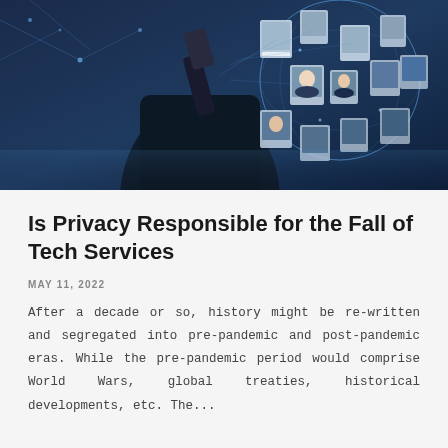[Figure (photo): A dark blue-toned photo of a person's hands holding a smartphone or stylus pointing upward, surrounded by floating profile/ID photos and digital network globe imagery against a blue tech background.]
Is Privacy Responsible for the Fall of Tech Services
MAY 11, 2022
After a decade or so, history might be re-written and segregated into pre-pandemic and post-pandemic eras. While the pre-pandemic period would comprise World Wars, global treaties, historical developments, etc. The...